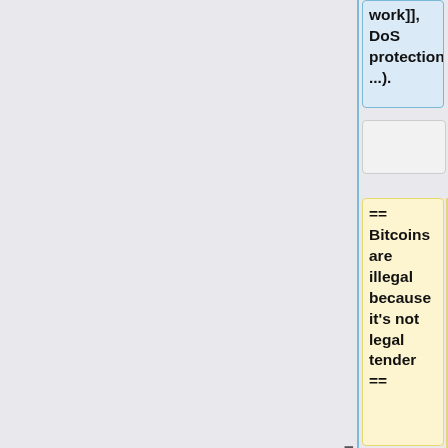work]], DoS protection, ...).
== Bitcoins are illegal because it's not legal tender ==
These rules "define" bitcoin. A [[full node]] is software that verifies the rules of bitcoin. Any transaction which breaks these rules is not a valid bitcoin transaction and would be rejected in the same way that a careful goldsmith rejects fool's